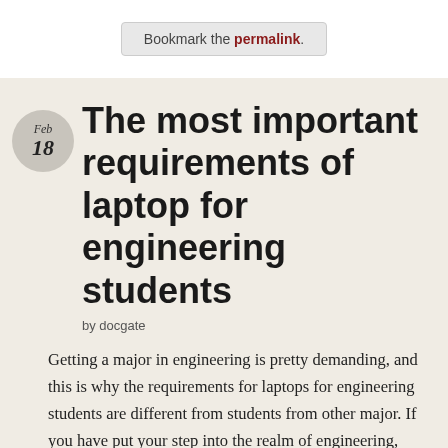Bookmark the permalink.
The most important requirements of laptop for engineering students
by docgate
Getting a major in engineering is pretty demanding, and this is why the requirements for laptops for engineering students are different from students from other major. If you have put your step into the realm of engineering, you will meet with thousands of assignments and sleepless